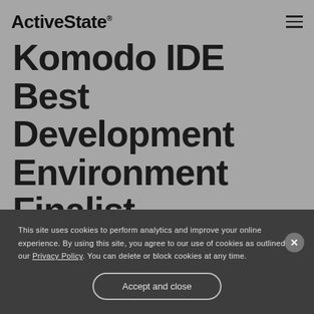ActiveState®
Komodo IDE Best Development Environment Finalist
VANCOUVER, British Columbia – December 20, 2007 – Dr. Dobb's 18th Jolt Awards has selected ActiveState's Komodo IDE as a Best IDE finalist. Komodo won the Jolt Productivity Award in 2006 and
This site uses cookies to perform analytics and improve your online experience. By using this site, you agree to our use of cookies as outlined in our Privacy Policy. You can delete or block cookies at any time.
Accept and close